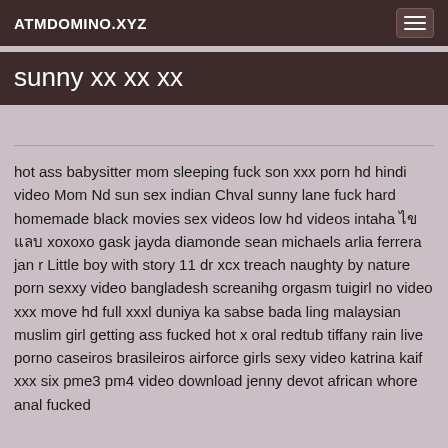ATMDOMINO.XYZ
sunny xx xx xx
hot ass babysitter mom sleeping fuck son xxx porn hd hindi video Mom Nd sun sex indian Chval sunny lane fuck hard homemade black movies sex videos low hd videos intaha ไขแลบ xoxoxo gask jayda diamonde sean michaels arlia ferrera jan r Little boy with story 11 dr xcx treach naughty by nature porn sexxy video bangladesh screanihg orgasm tuigirl no video xxx move hd full xxxl duniya ka sabse bada ling malaysian muslim girl getting ass fucked hot x oral redtub tiffany rain live porno caseiros brasileiros airforce girls sexy video katrina kaif xxx six pme3 pm4 video download jenny devot african whore anal fucked